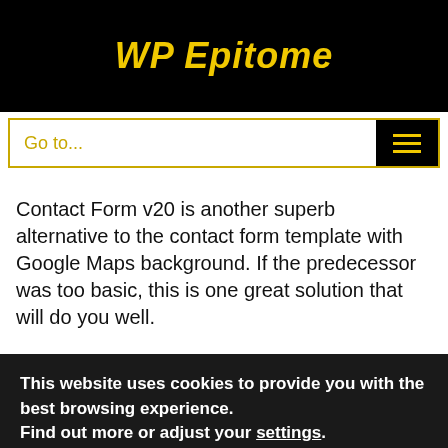WP Epitome
Go to...
Contact Form v20 is another superb alternative to the contact form template with Google Maps background. If the predecessor was too basic, this is one great solution that will do you well.
This website uses cookies to provide you with the best browsing experience.
Find out more or adjust your settings.
Accept